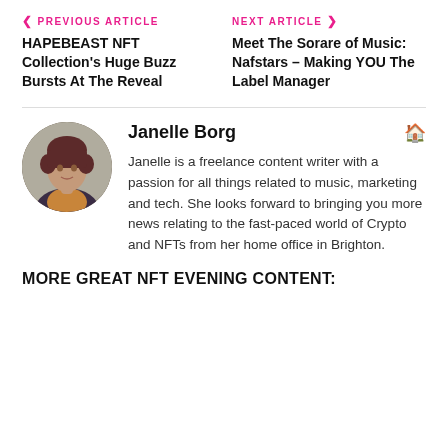< PREVIOUS ARTICLE | HAPEBEAST NFT Collection's Huge Buzz Bursts At The Reveal
NEXT ARTICLE > | Meet The Sorare of Music: Nafstars – Making YOU The Label Manager
[Figure (photo): Circular avatar photo of Janelle Borg, a woman with short dark red hair, wearing a dark jacket]
Janelle Borg
Janelle is a freelance content writer with a passion for all things related to music, marketing and tech. She looks forward to bringing you more news relating to the fast-paced world of Crypto and NFTs from her home office in Brighton.
MORE GREAT NFT EVENING CONTENT: